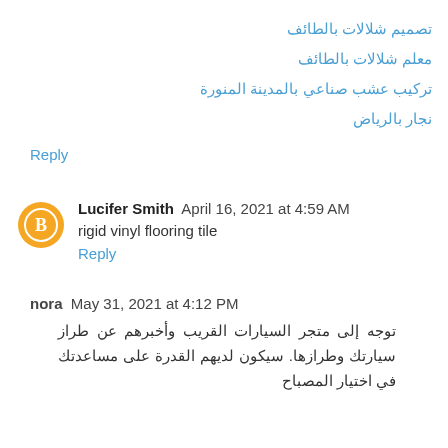تصميم شلالات بالطائف
معلم شلالات بالطائف
تركيب عشب صناعي بالمدينة المنورة
نجار بالرياض
Reply
Lucifer Smith  April 16, 2021 at 4:59 AM
rigid vinyl flooring tile
Reply
nora  May 31, 2021 at 4:12 PM
توجه إلى متجر السيارات القريب وأخبرهم عن طراز سيارتك وطرازها. سيكون لديهم القدرة على مساعدتك في اختيار المصباح